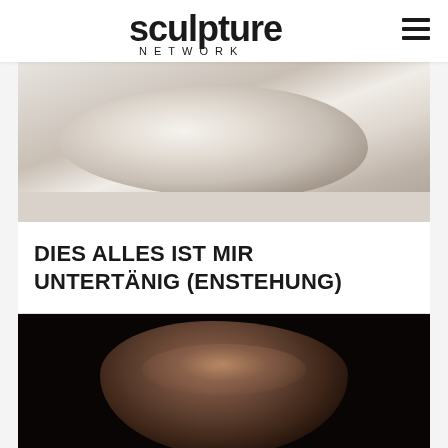sculpture NETWORK
[Figure (photo): Large rough white marble or limestone rock/boulder being worked on in a studio, seen from above/side angle, showing raw texture and cracks]
DIES ALLES IST MIR UNTERTÄNIG (ENSTEHUNG)
[Figure (photo): Bronze or dark metal sculpture of a human face/head, close-up, with dramatic lighting against black background, showing detailed facial features with silver/metallic highlights]